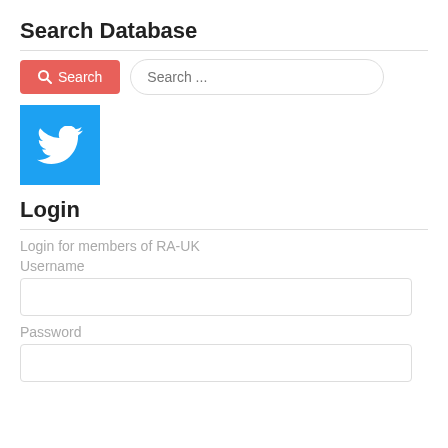Search Database
[Figure (screenshot): Search button (red/coral background with magnifying glass icon) and Search input field with placeholder 'Search ...']
[Figure (logo): Twitter bird logo on cyan/blue background square]
Login
Login for members of RA-UK
Username
Password